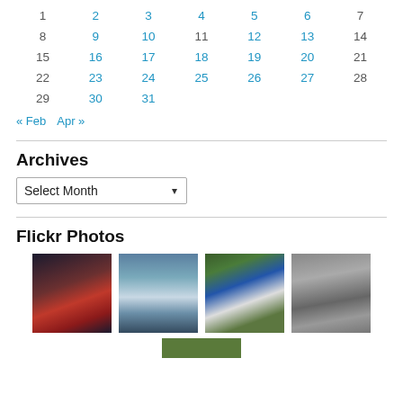| 1 | 2 | 3 | 4 | 5 | 6 | 7 |
| 8 | 9 | 10 | 11 | 12 | 13 | 14 |
| 15 | 16 | 17 | 18 | 19 | 20 | 21 |
| 22 | 23 | 24 | 25 | 26 | 27 | 28 |
| 29 | 30 | 31 |  |  |  |  |
« Feb   Apr »
Archives
Select Month
Flickr Photos
[Figure (photo): Four Flickr photo thumbnails: illuminated town by water at night, snowy mountains with rushing water, colorful coastal village with boats, black and white building facade.]